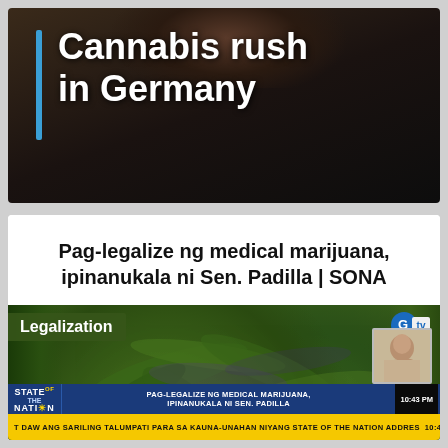[Figure (screenshot): News article thumbnail showing dark background with a face or figure at top and a blue vertical bar beside large white text reading 'Cannabis rush in Germany']
Cannabis rush in Germany
Pag-legalize ng medical marijuana, ipinanukala ni Sen. Padilla | SONA
[Figure (screenshot): Television news screenshot showing cannabis plants (green and purple foliage) with a 'Legalization' tag overlay, GTV logo, State of the Nation lower third banner with text 'PAG-LEGALIZE NG MEDICAL MARIJUANA, IPINANUKALA NI SEN. PADILLA', a sign language interpreter box, time showing 10:43 PM, and yellow ticker at bottom with text about SONA address]